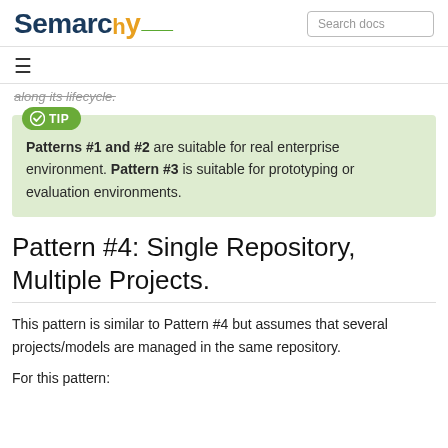Semarchy — Search docs
≡
along its lifecycle.
TIP
Patterns #1 and #2 are suitable for real enterprise environment. Pattern #3 is suitable for prototyping or evaluation environments.
Pattern #4: Single Repository, Multiple Projects.
This pattern is similar to Pattern #4 but assumes that several projects/models are managed in the same repository.
For this pattern: